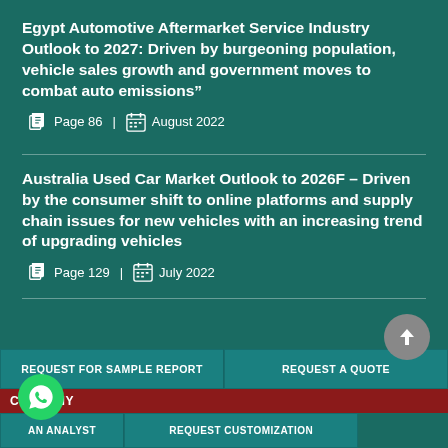Egypt Automotive Aftermarket Service Industry Outlook to 2027: Driven by burgeoning population, vehicle sales growth and government moves to combat auto emissions”
Page 86 | August 2022
Australia Used Car Market Outlook to 2026F – Driven by the consumer shift to online platforms and supply chain issues for new vehicles with an increasing trend of upgrading vehicles
Page 129 | July 2022
REQUEST FOR SAMPLE REPORT
REQUEST A QUOTE
COMPANY
AN ANALYST
REQUEST CUSTOMIZATION